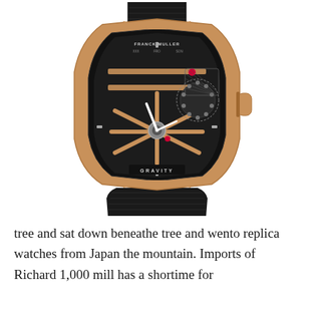[Figure (photo): Franck Muller Gravity tourbillon skeleton watch with rose gold case and black leather strap, showing exposed mechanical movement]
tree and sat down beneathe tree and wento replica watches from Japan the mountain. Imports of Richard 1,000 mill has a shortime for